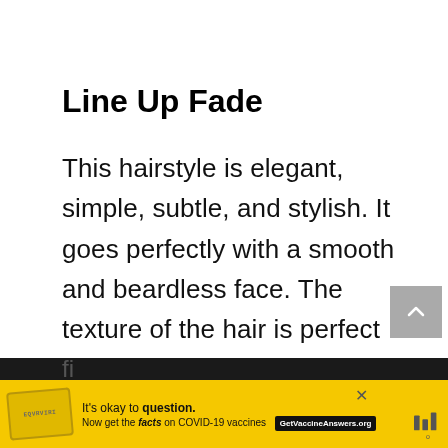Line Up Fade
This hairstyle is elegant, simple, subtle, and stylish. It goes perfectly with a smooth and beardless face. The texture of the hair is perfect and holds the natural curls perfectly in place.
The haircut features low fades and the lineup haircut gives you a clean and sharp fi…